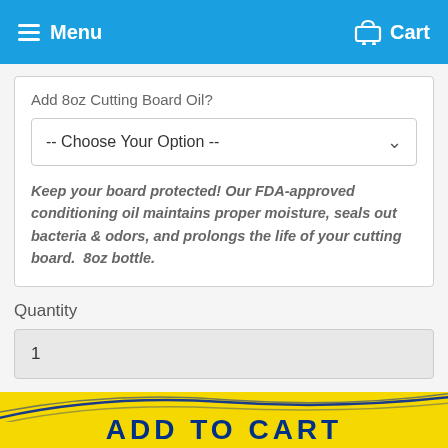Menu  Cart
Add 8oz Cutting Board Oil?
-- Choose Your Option --
Keep your board protected! Our FDA-approved conditioning oil maintains proper moisture, seals out bacteria & odors, and prolongs the life of your cutting board.  8oz bottle.
Quantity
1
$6900  $9900  SAVE $30
[Figure (screenshot): Partial view of yellow Add to Cart button with blue curved lines above it]